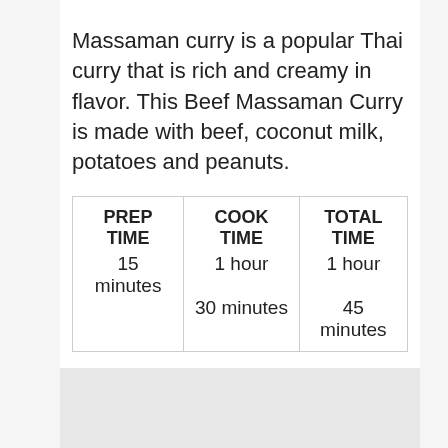Massaman curry is a popular Thai curry that is rich and creamy in flavor. This Beef Massaman Curry is made with beef, coconut milk, potatoes and peanuts.
| PREP TIME | COOK TIME | TOTAL TIME |
| --- | --- | --- |
| 15 minutes | 1 hour
30 minutes | 1 hour
45 minutes |